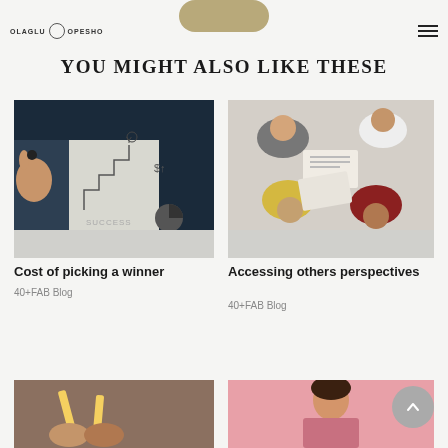OLAGLU OPESHO (logo) + hamburger menu
YOU MIGHT ALSO LIKE THESE
[Figure (photo): Person drawing a success staircase with dollar sign and trophy icon on whiteboard]
Cost of picking a winner
40+FAB Blog
[Figure (photo): Overhead view of group of people studying or working together with notebooks]
Accessing others perspectives
40+FAB Blog
[Figure (photo): Hands holding pencils or pens, partially visible at bottom left]
[Figure (photo): Woman on pink background, partially visible at bottom right]